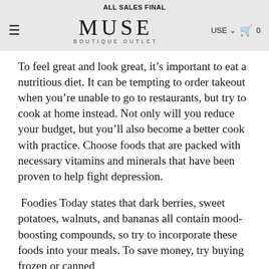ALL SALES FINAL
[Figure (logo): MUSE BOUTIQUE OUTLET logo with hamburger menu icon on left and USE currency selector and cart icon on right]
To feel great and look great, it’s important to eat a nutritious diet. It can be tempting to order takeout when you’re unable to go to restaurants, but try to cook at home instead. Not only will you reduce your budget, but you’ll also become a better cook with practice. Choose foods that are packed with necessary vitamins and minerals that have been proven to help fight depression.
Foodies Today states that dark berries, sweet potatoes, walnuts, and bananas all contain mood-boosting compounds, so try to incorporate these foods into your meals. To save money, try buying frozen or canned